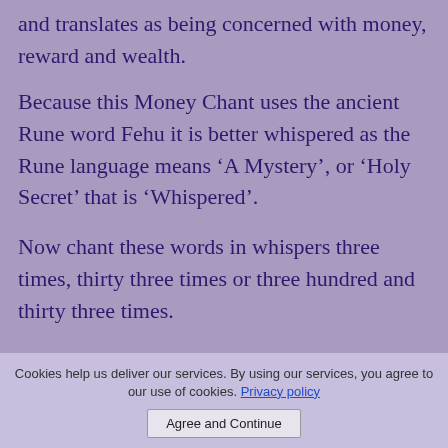and translates as being concerned with money, reward and wealth.
Because this Money Chant uses the ancient Rune word Fehu it is better whispered as the Rune language means ‘A Mystery’, or ‘Holy Secret’ that is ‘Whispered’.
Now chant these words in whispers three times, thirty three times or three hundred and thirty three times.
“Fehu, Fehu, Fehu flow freely to me, with harm to none, so mote it be!”
Cookies help us deliver our services. By using our services, you agree to our use of cookies. Privacy policy
Agree and Continue